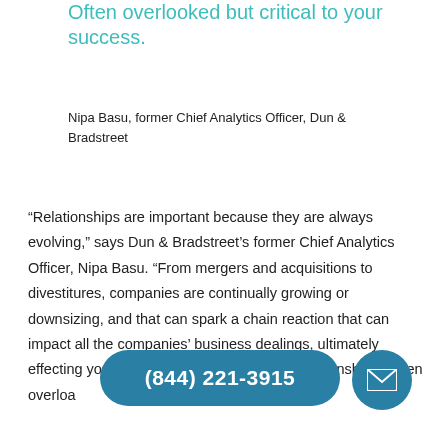Often overlooked but critical to your success.
Nipa Basu, former Chief Analytics Officer, Dun & Bradstreet
“Relationships are important because they are always evolving,” says Dun & Bradstreet’s former Chief Analytics Officer, Nipa Basu. “From mergers and acquisitions to divestitures, companies are continually growing or downsizing, and that can spark a chain reaction that can impact all the companies’ business dealings, ultimately effecting your bottom line. Observing relationships is often overlooked but critical to your success,” Basu explains.